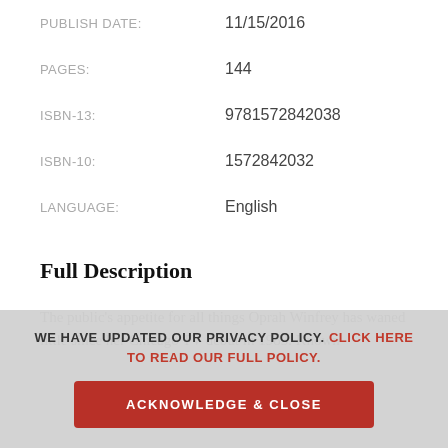PUBLISH DATE: 11/15/2016
PAGES: 144
ISBN-13: 9781572842038
ISBN-10: 1572842032
LANGUAGE: English
Full Description
The public's appetite for all things Oprah Winfrey has waned little since her Chicago TV debut in 1983. Known
WE HAVE UPDATED OUR PRIVACY POLICY. CLICK HERE TO READ OUR FULL POLICY.
ACKNOWLEDGE & CLOSE